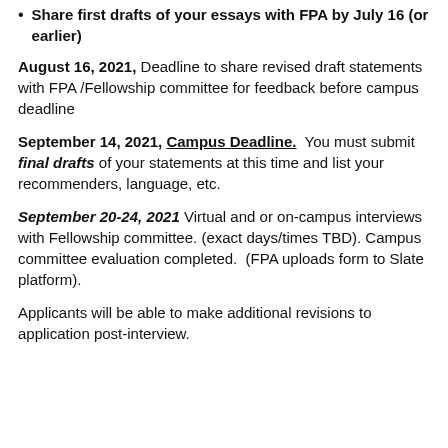Share first drafts of your essays with FPA by July 16 (or earlier)
August 16, 2021, Deadline to share revised draft statements with FPA /Fellowship committee for feedback before campus deadline
September 14, 2021, Campus Deadline. You must submit final drafts of your statements at this time and list your recommenders, language, etc.
September 20-24, 2021 Virtual and or on-campus interviews with Fellowship committee. (exact days/times TBD). Campus committee evaluation completed. (FPA uploads form to Slate platform).
Applicants will be able to make additional revisions to application post-interview.